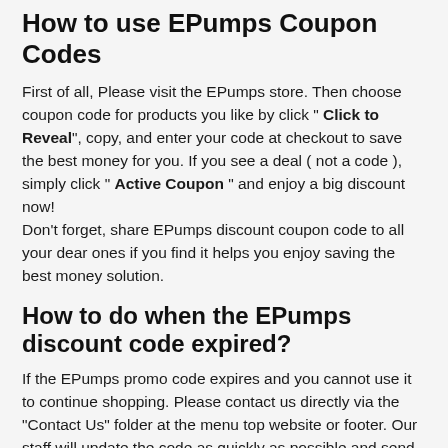How to use EPumps Coupon Codes
First of all, Please visit the EPumps store. Then choose coupon code for products you like by click " Click to Reveal", copy, and enter your code at checkout to save the best money for you. If you see a deal ( not a code ), simply click " Active Coupon " and enjoy a big discount now!
Don't forget, share EPumps discount coupon code to all your dear ones if you find it helps you enjoy saving the best money solution.
How to do when the EPumps discount code expired?
If the EPumps promo code expires and you cannot use it to continue shopping. Please contact us directly via the "Contact Us" folder at the menu top website or footer. Our staff will update the code as quickly as possible and send it directly to your email